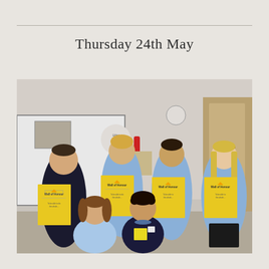Thursday 24th May
[Figure (photo): Group of six primary school children posing in a classroom. Some children in the back row hold yellow 'Wall of Honour' certificates. Two children in the front row stand without certificates. Children are wearing light blue school polo shirts and one child in the front wears a dark navy top.]